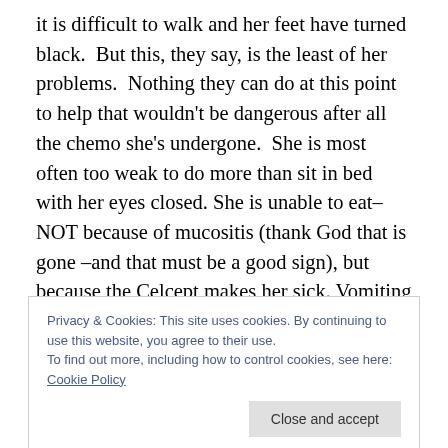it is difficult to walk and her feet have turned black. But this, they say, is the least of her problems. Nothing they can do at this point to help that wouldn't be dangerous after all the chemo she's undergone. She is most often too weak to do more than sit in bed with her eyes closed. She is unable to eat– NOT because of mucositis (thank God that is gone –and that must be a good sign), but because the Celcept makes her sick. Vomiting and diarrhea are still part of the daily routine.

The work of accepting the transplant occurs around the
Privacy & Cookies: This site uses cookies. By continuing to use this website, you agree to their use.
To find out more, including how to control cookies, see here: Cookie Policy
Regular vital signs. Mountains of other pills, all designed